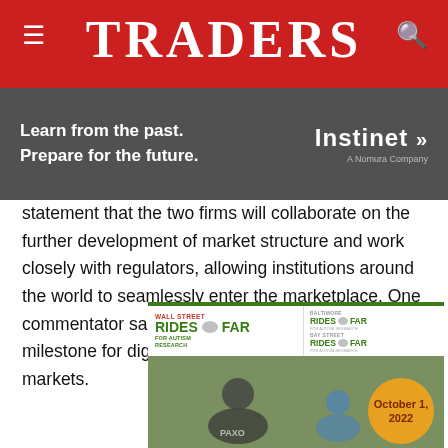TRADERS
[Figure (other): Instinet A Nomura Company advertisement overlay with text: Learn from the past. Prepare for the future.]
statement that the two firms will collaborate on the further development of market structure and work closely with regulators, allowing institutions around the world to seamlessly enter the marketplace. One commentator said the partnership could be a milestone for digital asset adoption in capital markets.
[Figure (other): Wall Street Rides FAR for Autism Research / Baltimore Rides FAR / Bay Street Rides FAR advertisement with photo of cyclists, October 1, 2022]